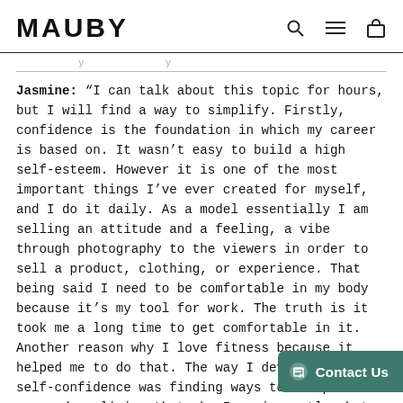MAUBY
Jasmine: “I can talk about this topic for hours, but I will find a way to simplify. Firstly, confidence is the foundation in which my career is based on. It wasn’t easy to build a high self-esteem. However it is one of the most important things I’ve ever created for myself, and I do it daily. As a model essentially I am selling an attitude and a feeling, a vibe through photography to the viewers in order to sell a product, clothing, or experience. That being said I need to be comfortable in my body because it’s my tool for work. The truth is it took me a long time to get comfortable in it. Another reason why I love fitness because it helped me to do that. The way I developed my self-confidence was finding ways to accept who I am, and realizing that who I am is mostly what lies in my choices. So for example who I choose to be morally, ethically...